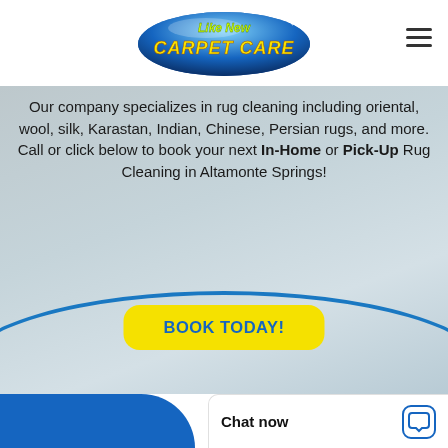[Figure (logo): Like New Carpet Care logo — blue oval with yellow and green stylized text reading 'Like New Carpet Care' with sparkle graphic]
Our company specializes in rug cleaning including oriental, wool, silk, Karastan, Indian, Chinese, Persian rugs, and more. Call or click below to book your next In-Home or Pick-Up Rug Cleaning in Altamonte Springs!
BOOK TODAY!
Chat now